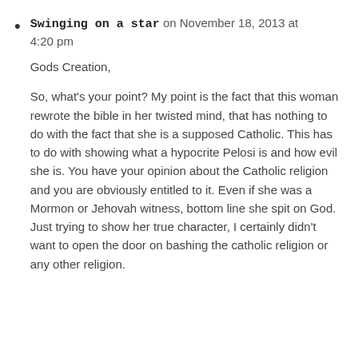Swinging on a star on November 18, 2013 at 4:20 pm

Gods Creation,

So, what's your point? My point is the fact that this woman rewrote the bible in her twisted mind, that has nothing to do with the fact that she is a supposed Catholic. This has to do with showing what a hypocrite Pelosi is and how evil she is. You have your opinion about the Catholic religion and you are obviously entitled to it. Even if she was a Mormon or Jehovah witness, bottom line she spit on God. Just trying to show her true character, I certainly didn't want to open the door on bashing the catholic religion or any other religion.